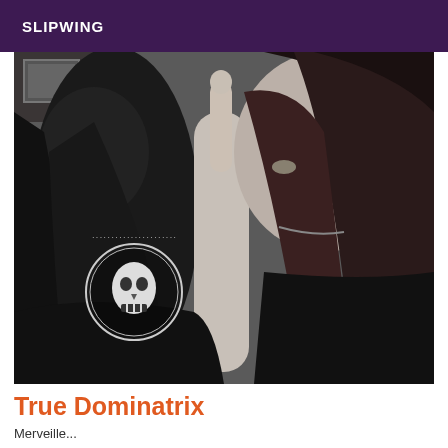SLIPWING
[Figure (photo): Black and white photograph of a woman with long dark hair holding her index finger to her lips in a 'shh' gesture. She wears a dark sleeveless top. A circular logo/watermark with a skull is visible in the lower-left area of the image.]
True Dominatrix
Merveille...